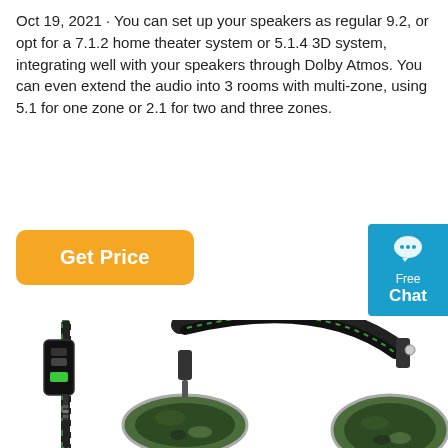Oct 19, 2021 · You can set up your speakers as regular 9.2, or opt for a 7.1.2 home theater system or 5.1.4 3D system, integrating well with your speakers through Dolby Atmos. You can even extend the audio into 3 rooms with multi-zone, using 5.1 for one zone or 2.1 for two and three zones.
[Figure (other): Orange 'Get Price' button]
[Figure (other): Blue 'Free Chat' widget on the right side]
[Figure (photo): Photo of a camouflage gaming headset with green/black braided cable and inline controller]